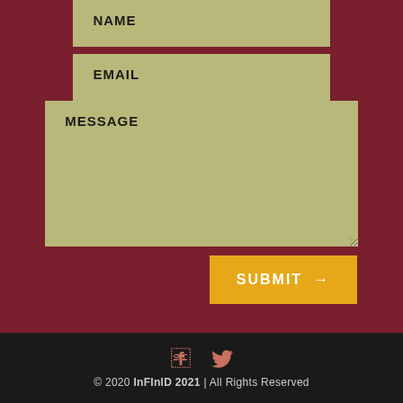NAME
EMAIL
MESSAGE
SUBMIT →
[Figure (illustration): Facebook and Twitter social media icons in coral/salmon color on dark footer background]
© 2020 InFInID 2021 | All Rights Reserved